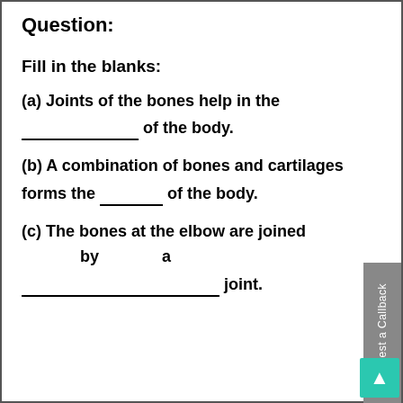Question:
Fill in the blanks:
(a) Joints of the bones help in the _____________ of the body.
(b) A combination of bones and cartilages forms the ________ of the body.
(c) The bones at the elbow are joined by a _________________________ joint.